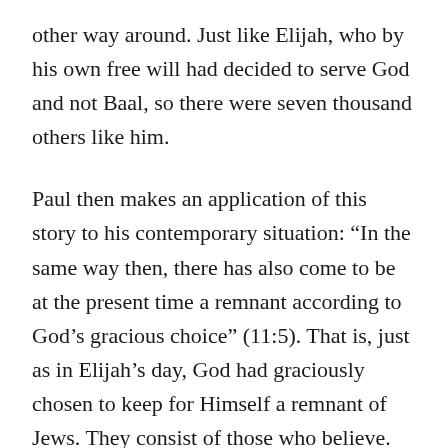other way around. Just like Elijah, who by his own free will had decided to serve God and not Baal, so there were seven thousand others like him.
Paul then makes an application of this story to his contemporary situation: “In the same way then, there has also come to be at the present time a remnant according to God’s gracious choice” (11:5). That is, just as in Elijah’s day, God had graciously chosen to keep for Himself a remnant of Jews. They consist of those who believe. Paul immediately emphasizes this condition of acceptance with God in his very next sentence: “But if it is by grace, it is no longer on the basis of works, otherwise grace is no longer grace” (11:6).